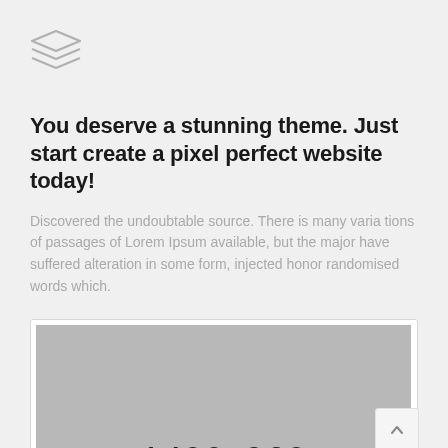[Figure (logo): Stacked layers icon in gray outline style]
You deserve a stunning theme. Just start create a pixel perfect website today!
Discovered the undoubtable source. There is many varia tions of passages of Lorem Ipsum available, but the major have suffered alteration in some form, injected honor randomised words which.
[Figure (photo): Gray placeholder image showing dimensions 1400x960 with up-arrow and envelope sidebar buttons]